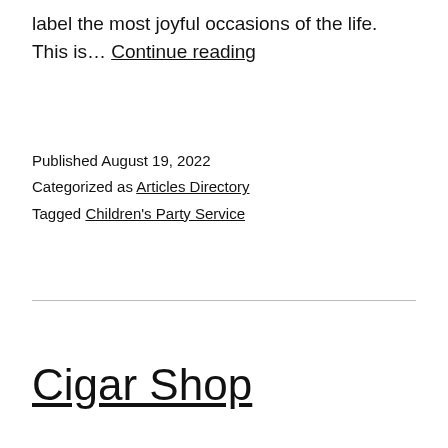label the most joyful occasions of the life. This is… Continue reading
Published August 19, 2022
Categorized as Articles Directory
Tagged Children's Party Service
Cigar Shop